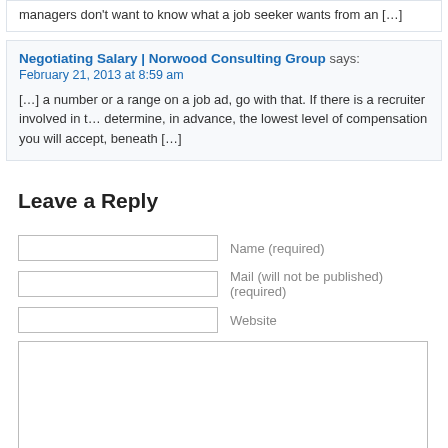managers don't want to know what a job seeker wants from an […]
Negotiating Salary | Norwood Consulting Group says:
February 21, 2013 at 8:59 am
[…] a number or a range on a job ad, go with that. If there is a recruiter involved in t… determine, in advance, the lowest level of compensation you will accept, beneath […]
Leave a Reply
Name (required)
Mail (will not be published) (required)
Website